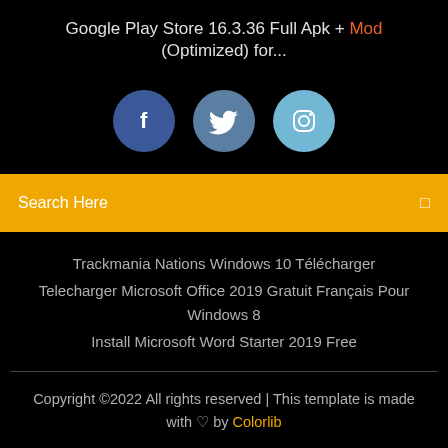Google Play Store 16.3.36 Full Apk + Mod (Optimized) for...
[Figure (illustration): Three social media icon circles: Facebook (dark blue), Twitter (medium blue), Instagram (light blue)]
Search Here
Trackmania Nations Windows 10 Télécharger
Telecharger Microsoft Office 2019 Gratuit Français Pour Windows 8
Install Microsoft Word Starter 2019 Free
Copyright ©2022 All rights reserved | This template is made with ♡ by Colorlib